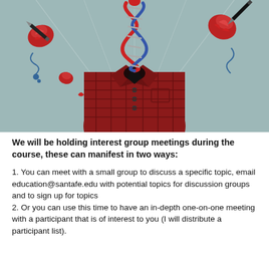[Figure (illustration): Artistic illustration of a headless figure in a dark red plaid shirt with a DNA double helix in place of the head, surrounded by floating rose-like flowers and pencil/dart objects, on a muted teal/grey background.]
We will be holding interest group meetings during the course, these can manifest in two ways:
1. You can meet with a small group to discuss a specific topic, email education@santafe.edu with potential topics for discussion groups and to sign up for topics
2. Or you can use this time to have an in-depth one-on-one meeting with a participant that is of interest to you (I will distribute a participant list).